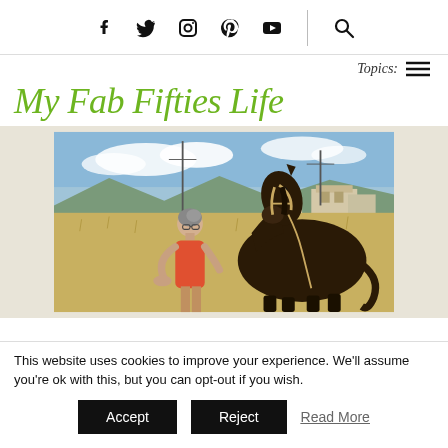Social media icons: Facebook, Twitter, Instagram, Pinterest, YouTube, Search
Topics: ☰
My Fab Fifties Life
[Figure (photo): A woman with grey hair wearing a coral/red sleeveless top feeding or petting a large dark brown horse in a dry grassy field with mountains and buildings in the background under a partly cloudy sky.]
This website uses cookies to improve your experience. We'll assume you're ok with this, but you can opt-out if you wish.
Accept   Reject   Read More